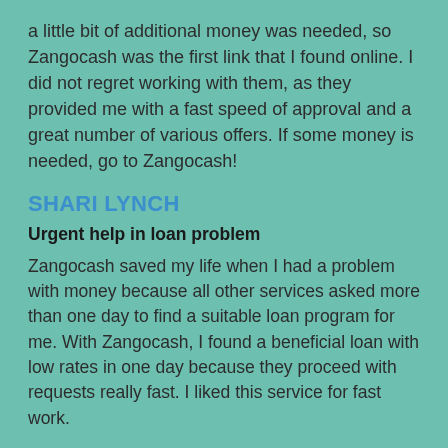a little bit of additional money was needed, so Zangocash was the first link that I found online. I did not regret working with them, as they provided me with a fast speed of approval and a great number of various offers. If some money is needed, go to Zangocash!
SHARI LYNCH
Urgent help in loan problem
Zangocash saved my life when I had a problem with money because all other services asked more than one day to find a suitable loan program for me. With Zangocash, I found a beneficial loan with low rates in one day because they proceed with requests really fast. I liked this service for fast work.
AMANDA TALLOWER
A lot of different creditors and loan offers
I went through a serious health operation just three weeks